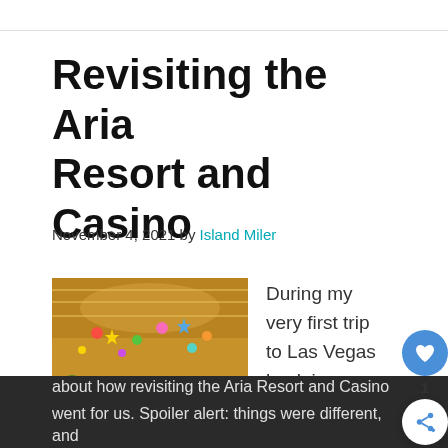Revisiting the Aria Resort and Casino
November 4, 2021 by Island Miler
[Figure (photo): Interior photo of Aria Resort lobby/atrium with colorful hanging decorations (stars, birds, butterflies) suspended from a glass ceiling, with warm ambient lighting and lush greenery visible below.]
During my very first trip to Las Vegas back in 2017, we stayed at the Aria Resort. This time around, we did s again. Things, however, w a bit different. So, let's talk about how revisiting the Aria Resort and Casino went for us. Spoiler alert: things were different, and